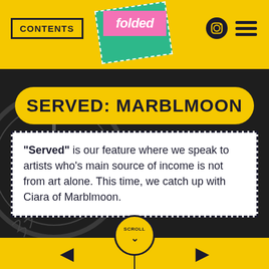CONTENTS | folded
SERVED: MARBLMOON
“Served” is our feature where we speak to artists who’s main source of income is not from art alone. This time, we catch up with Ciara of Marblmoon.